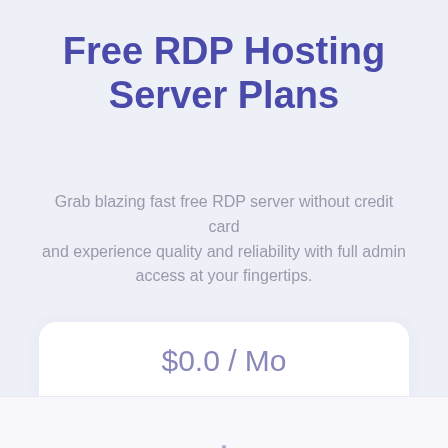Free RDP Hosting Server Plans
Grab blazing fast free RDP server without credit card and experience quality and reliability with full admin access at your fingertips.
$0.0 / Mo